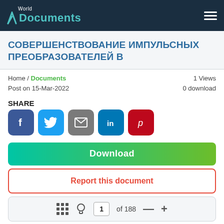World Documents
СОВЕРШЕНСТВОВАНИЕ ИМПУЛЬСНЫХ ПРЕОБРАЗОВАТЕЛЕЙ В
Home / Documents — 1 Views — Post on 15-Mar-2022 — 0 download
SHARE
[Figure (other): Social share buttons: Facebook, Twitter, Email, LinkedIn, Pinterest]
Download
Report this document
1 of 188